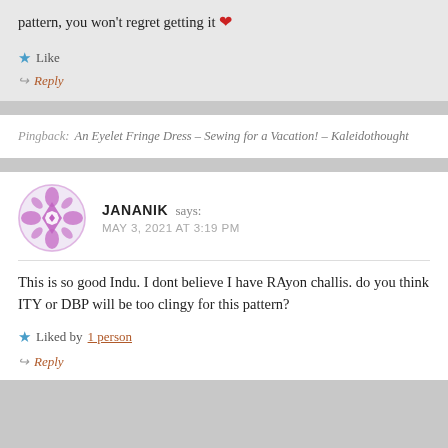pattern, you won't regret getting it ❤
Like
Reply
Pingback: An Eyelet Fringe Dress – Sewing for a Vacation! – Kaleidothought
JANANIK says: MAY 3, 2021 AT 3:19 PM
This is so good Indu. I dont believe I have RAyon challis. do you think ITY or DBP will be too clingy for this pattern?
Liked by 1 person
Reply